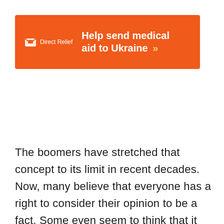[Figure (infographic): Orange advertisement banner for Direct Relief: 'Help send medical aid to Ukraine >>' with Direct Relief logo (white envelope/box icon and 'Direct Relief' text) on orange background.]
The boomers have stretched that concept to its limit in recent decades. Now, many believe that everyone has a right to consider their opinion to be a fact. Some even seem to think that it doesn't matter if their opinion is factually correct or